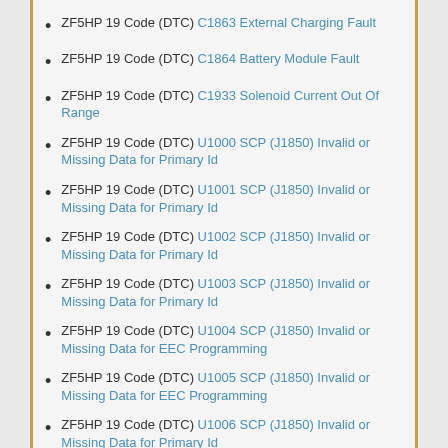ZF5HP 19 Code (DTC) C1863 External Charging Fault
ZF5HP 19 Code (DTC) C1864 Battery Module Fault
ZF5HP 19 Code (DTC) C1933 Solenoid Current Out Of Range
ZF5HP 19 Code (DTC) U1000 SCP (J1850) Invalid or Missing Data for Primary Id
ZF5HP 19 Code (DTC) U1001 SCP (J1850) Invalid or Missing Data for Primary Id
ZF5HP 19 Code (DTC) U1002 SCP (J1850) Invalid or Missing Data for Primary Id
ZF5HP 19 Code (DTC) U1003 SCP (J1850) Invalid or Missing Data for Primary Id
ZF5HP 19 Code (DTC) U1004 SCP (J1850) Invalid or Missing Data for EEC Programming
ZF5HP 19 Code (DTC) U1005 SCP (J1850) Invalid or Missing Data for EEC Programming
ZF5HP 19 Code (DTC) U1006 SCP (J1850) Invalid or Missing Data for Primary Id
ZF5HP 19 Code (DTC) U1007 SCP (J1850) Invalid or Missing Data for Primary Id